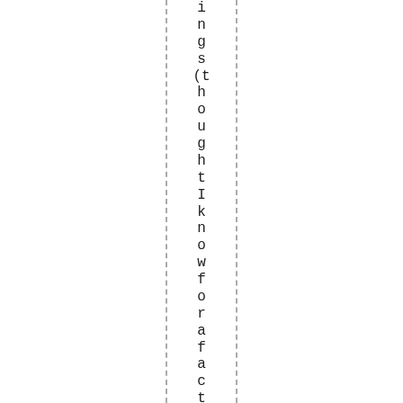ings(thoughtIknowforafactthatId